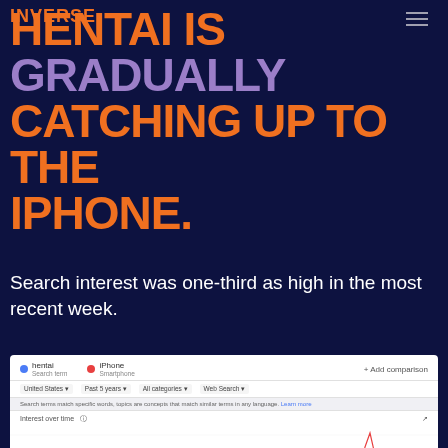INVERSE
HENTAI IS GRADUALLY CATCHING UP TO THE IPHONE.
Search interest was one-third as high in the most recent week.
[Figure (screenshot): Google Trends comparison screenshot showing search interest over time for 'hentai' (blue line) vs 'iPhone' (red line) over the past 5 years in the United States. The iPhone line shows a large spike near the right side. The hentai line shows moderate periodic spikes. Filters: United States, Past 5 years, All categories, Web Search.]